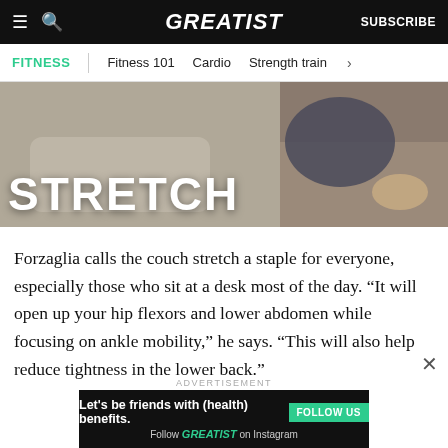GREATIST | SUBSCRIBE
FITNESS | Fitness 101 | Cardio | Strength train >
[Figure (photo): Person doing a couch stretch exercise with the word STRETCH overlaid in large bold white text]
Forzaglia calls the couch stretch a staple for everyone, especially those who sit at a desk most of the day. “It will open up your hip flexors and lower abdomen while focusing on ankle mobility,” he says. “This will also help reduce tightness in the lower back.”
ADVERTISEMENT
[Figure (infographic): Advertisement banner: Let’s be friends with (health) benefits. Follow GREATIST on Instagram. FOLLOW US button.]